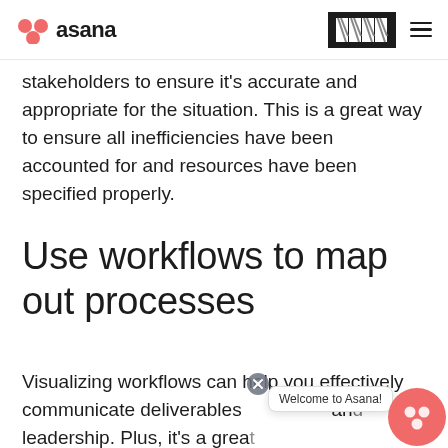asana
stakeholders to ensure it's accurate and appropriate for the situation. This is a great way to ensure all inefficiencies have been accounted for and resources have been specified properly.
Use workflows to map out processes
Visualizing workflows can help you effectively communicate deliverables and leadership. Plus, it's a great iple